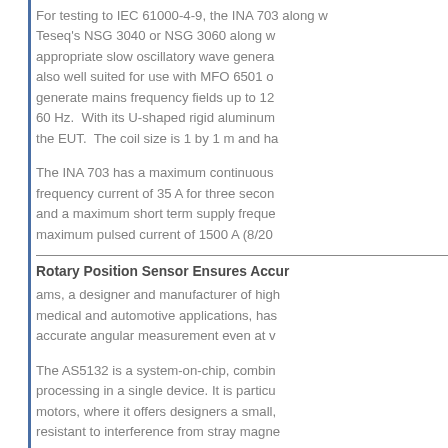For testing to IEC 61000-4-9, the INA 703 along with Teseq's NSG 3040 or NSG 3060 along with appropriate slow oscillatory wave generators. It is also well suited for use with MFO 6501 or similar to generate mains frequency fields up to 120 A/m at 50 or 60 Hz. With its U-shaped rigid aluminum frame around the EUT. The coil size is 1 by 1 m and ha...
The INA 703 has a maximum continuous supply frequency current of 35 A for three seconds duration and a maximum short term supply frequency... maximum pulsed current of 1500 A (8/20...
Rotary Position Sensor Ensures Accur...
ams, a designer and manufacturer of high... medical and automotive applications, has... accurate angular measurement even at v...
The AS5132 is a system-on-chip, combin... processing in a single device. It is particu... motors, where it offers designers a small,... resistant to interference from stray magne...